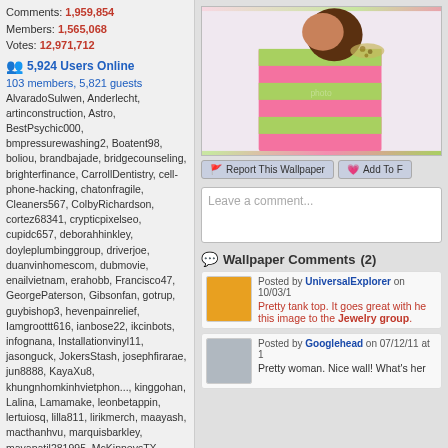Comments: 1,959,854
Members: 1,565,068
Votes: 12,971,712
5,924 Users Online
103 members, 5,821 guests
AlvaradoSulwen, Anderlecht, artinconstruction, Astro, BestPsychic000, bmpressurewashing2, Boatent98, boliou, brandbajade, bridgecounseling, brighterfinance, CarrollDentistry, cell-phone-hacking, chatonfragile, Cleaners567, ColbyRichardson, cortez68341, crypticpixelseo, cupidc657, deborahhinkley, doyleplumbinggroup, driverjoe, duanvinhomescom, dubmovie, enailvietnam, erahobb, Francisco47, GeorgePaterson, Gibsonfan, gotrup, guybishop3, hevenpainrelief, Iamgroottt616, ianbose22, ikcinbots, infognana, Installationvinyl11, jasonguck, JokersStash, josephfirarae, jun8888, KayaXu8, khungnhomkinhvietphon..., kinggohan, Lalina, Lamamake, leonbetappin, lertuiosq, lilla811, lirikmerch, maayash, macthanhvu, marquisbarkley, mayapatil281995, McKinneysTX, mikepaxson, missshweta, mistydaydream1, mod.CG, modzoro, mumtazdental, now888today, phaasic777
[Figure (photo): Woman in pink and green striped top]
Report This Wallpaper
Add To F
Leave a comment...
Wallpaper Comments (2)
Posted by UniversalExplorer on 10/03/1
Pretty tank top. It goes great with he this image to the Jewelry group.
Posted by Googlehead on 07/12/11 at 1
Pretty woman. Nice wall! What's her